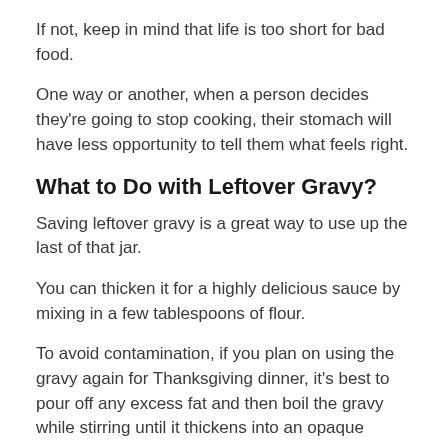If not, keep in mind that life is too short for bad food.
One way or another, when a person decides they're going to stop cooking, their stomach will have less opportunity to tell them what feels right.
What to Do with Leftover Gravy?
Saving leftover gravy is a great way to use up the last of that jar.
You can thicken it for a highly delicious sauce by mixing in a few tablespoons of flour.
To avoid contamination, if you plan on using the gravy again for Thanksgiving dinner, it's best to pour off any excess fat and then boil the gravy while stirring until it thickens into an opaque sauce.
There are other ways that leftover gravy can be used; potatoes au gratin is simply layering sliced